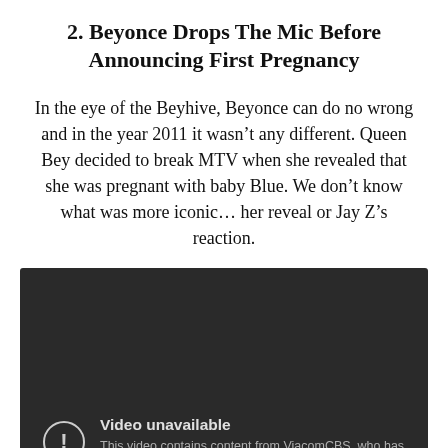2. Beyonce Drops The Mic Before Announcing First Pregnancy
In the eye of the Beyhive, Beyonce can do no wrong and in the year 2011 it wasn't any different. Queen Bey decided to break MTV when she revealed that she was pregnant with baby Blue. We don't know what was more iconic... her reveal or Jay Z's reaction.
[Figure (screenshot): Embedded YouTube video player showing 'Video unavailable' message. The video contains content from ViacomCBS, who has blocked it on copyright grounds. Dark grey background with a circular exclamation mark icon.]